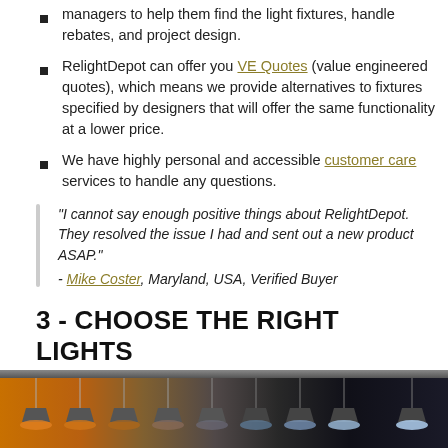managers to help them find the light fixtures, handle rebates, and project design.
RelightDepot can offer you VE Quotes (value engineered quotes), which means we provide alternatives to fixtures specified by designers that will offer the same functionality at a lower price.
We have highly personal and accessible customer care services to handle any questions.
“I cannot say enough positive things about RelightDepot. They resolved the issue I had and sent out a new product ASAP.” - Mike Coster, Maryland, USA, Verified Buyer
3 - CHOOSE THE RIGHT LIGHTS
[Figure (photo): Row of pendant lights hanging from ceiling showing a gradient from warm amber/orange light on the left to cool white/blue light on the right, demonstrating different color temperatures.]